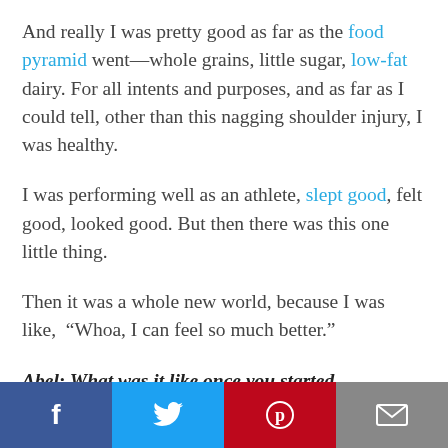And really I was pretty good as far as the food pyramid went—whole grains, little sugar, low-fat dairy. For all intents and purposes, and as far as I could tell, other than this nagging shoulder injury, I was healthy.
I was performing well as an athlete, slept good, felt good, looked good. But then there was this one little thing.
Then it was a whole new world, because I was like, “Whoa, I can feel so much better.”
Abel: What was it like once you started
[Figure (other): Social media sharing bar with Facebook, Twitter, Pinterest, and Email buttons]